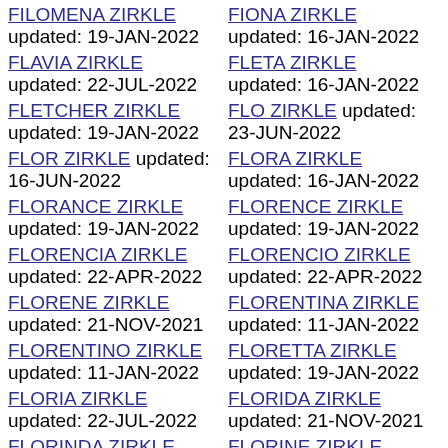FILOMENA ZIRKLE updated: 19-JAN-2022
FLAVIA ZIRKLE updated: 22-JUL-2022
FLETCHER ZIRKLE updated: 19-JAN-2022
FLOR ZIRKLE updated: 16-JUN-2022
FLORANCE ZIRKLE updated: 19-JAN-2022
FLORENCIA ZIRKLE updated: 22-APR-2022
FLORENE ZIRKLE updated: 21-NOV-2021
FLORENTINO ZIRKLE updated: 11-JAN-2022
FLORIA ZIRKLE updated: 22-JUL-2022
FLORINDA ZIRKLE updated: 19-JAN-2022
FIONA ZIRKLE updated: 16-JAN-2022
FLETA ZIRKLE updated: 16-JAN-2022
FLO ZIRKLE updated: 23-JUN-2022
FLORA ZIRKLE updated: 16-JAN-2022
FLORENCE ZIRKLE updated: 19-JAN-2022
FLORENCIO ZIRKLE updated: 22-APR-2022
FLORENTINA ZIRKLE updated: 11-JAN-2022
FLORETTA ZIRKLE updated: 19-JAN-2022
FLORIDA ZIRKLE updated: 21-NOV-2021
FLORINE ZIRKLE updated: 21-NOV-2021